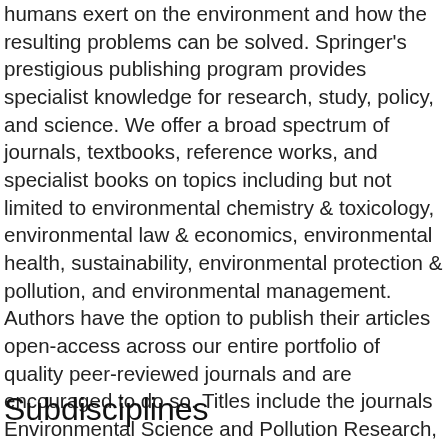environmental sciences explore the question of what influence humans exert on the environment and how the resulting problems can be solved. Springer's prestigious publishing program provides specialist knowledge for research, study, policy, and science. We offer a broad spectrum of journals, textbooks, reference works, and specialist books on topics including but not limited to environmental chemistry & toxicology, environmental law & economics, environmental health, sustainability, environmental protection & pollution, and environmental management. Authors have the option to publish their articles open-access across our entire portfolio of quality peer-reviewed journals and are encouraged to do so. Titles include the journals Environmental Science and Pollution Research, Climatic Change, and Environmental Monitoring and Assessment.
Subdisciplines